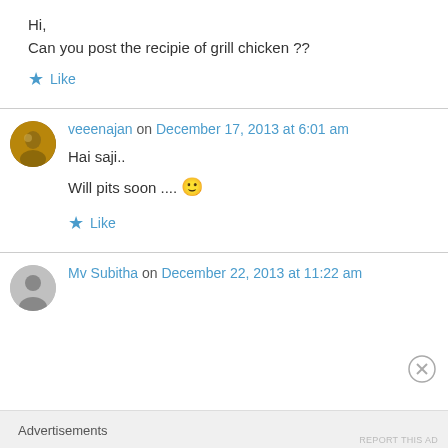Hi,
Can you post the recipie of grill chicken ??
★ Like
veeenajan on December 17, 2013 at 6:01 am
Hai saji..
Will pits soon .... 🙂
★ Like
Mv Subitha on December 22, 2013 at 11:22 am
Advertisements